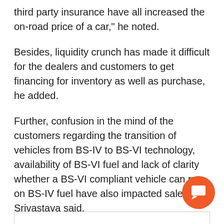third party insurance have all increased the on-road price of a car," he noted.
Besides, liquidity crunch has made it difficult for the dealers and customers to get financing for inventory as well as purchase, he added.
Further, confusion in the mind of the customers regarding the transition of vehicles from BS-IV to BS-VI technology, availability of BS-VI fuel and lack of clarity whether a BS-VI compliant vehicle can run on BS-IV fuel have also impacted sales, Srivastava said.